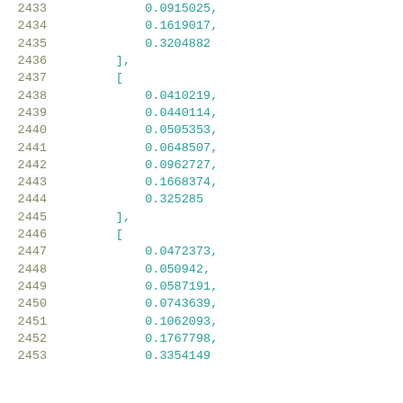2433    0.0915025,
2434    0.1619017,
2435    0.3204882
2436    ],
2437    [
2438        0.0410219,
2439        0.0440114,
2440        0.0505353,
2441        0.0648507,
2442        0.0962727,
2443        0.1668374,
2444        0.325285
2445    ],
2446    [
2447        0.0472373,
2448        0.050942,
2449        0.0587191,
2450        0.0743639,
2451        0.1062093,
2452        0.1767798,
2453        0.3354149